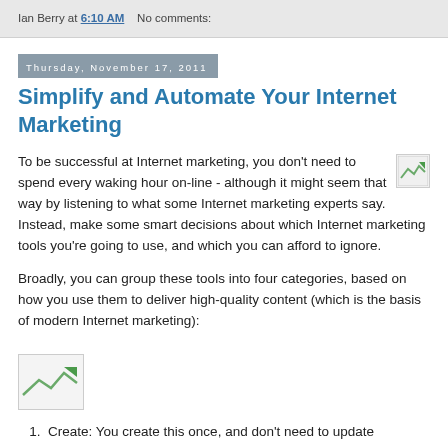Ian Berry at 6:10 AM    No comments:
Thursday, November 17, 2011
Simplify and Automate Your Internet Marketing
To be successful at Internet marketing, you don't need to spend every waking hour on-line - although it might seem that way by listening to what some Internet marketing experts say. Instead, make some smart decisions about which Internet marketing tools you're going to use, and which you can afford to ignore.
Broadly, you can group these tools into four categories, based on how you use them to deliver high-quality content (which is the basis of modern Internet marketing):
[Figure (illustration): Small placeholder image thumbnail]
1.  Create: You create this once, and don't need to update